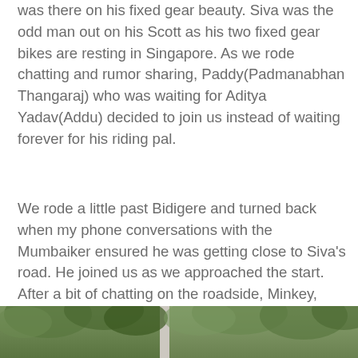was there on his fixed gear beauty. Siva was the odd man out on his Scott as his two fixed gear bikes are resting in Singapore. As we rode chatting and rumor sharing, Paddy(Padmanabhan Thangaraj) who was waiting for Aditya Yadav(Addu) decided to join us instead of waiting forever for his riding pal.
We rode a little past Bidigere and turned back when my phone conversations with the Mumbaiker ensured he was getting close to Siva’s road. He joined us as we approached the start. After a bit of chatting on the roadside, Minkey, Siva and Paddy went on their way towards Whitefield while I joined KK towards Nandi.
[Figure (photo): Outdoor photograph showing trees and foliage, partially visible at the bottom of the page.]